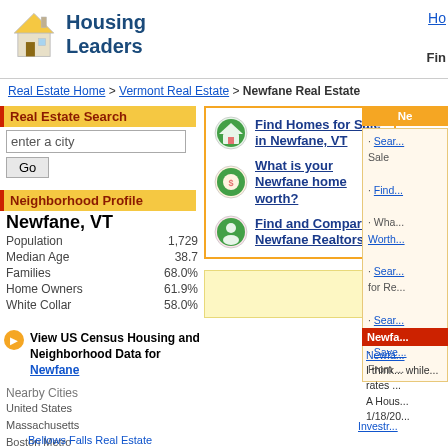Housing Leaders
Real Estate Home > Vermont Real Estate > Newfane Real Estate
Real Estate Search
enter a city / Go
Neighborhood Profile
Newfane, VT
|  |  |
| --- | --- |
| Population | 1,729 |
| Median Age | 38.7 |
| Families | 68.0% |
| Home Owners | 61.9% |
| White Collar | 58.0% |
View US Census Housing and Neighborhood Data for Newfane
Nearby Cities
United States
Massachusetts
Boston Metro
Windham
Bellows Falls Real Estate
Find Homes for Sale in Newfane, VT
What is your Newfane home worth?
Find and Compare Newfane Realtors©
Ne...
· Sear... Sale
· Find...
· Wha... Worth...
· Sear... for Re...
· Sear...
· Save... From ...
Newfa...
Newfa... I think... while... rates ... A Hous... 1/18/20...
Investr...